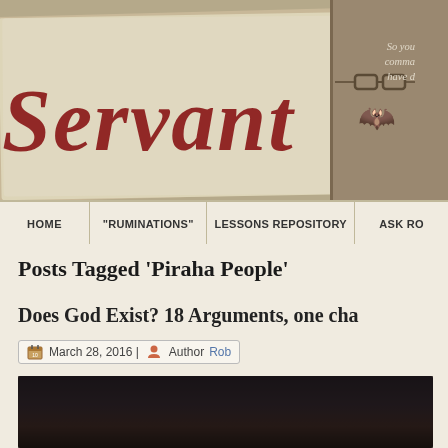[Figure (illustration): Blog header banner with parchment paper showing 'Servant' in dark red gothic/blackletter font, a robot/monster face illustration on right panel, and decorative elements. Right side shows partial italic text 'So you... comma... have d...']
HOME | "RUMINATIONS" | LESSONS REPOSITORY | ASK RO
Posts Tagged ‘Piraha People’
Does God Exist? 18 Arguments, one cha
March 28, 2016 | Author Rob
[Figure (photo): Dark image, appears to be video thumbnail with dark background]